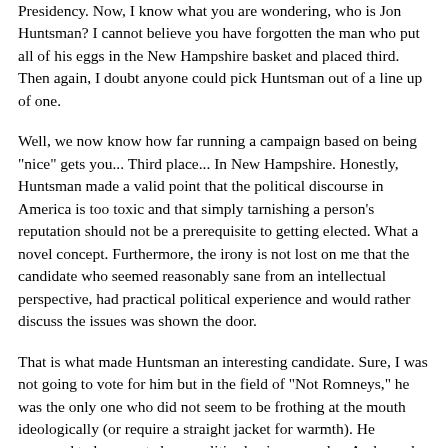Presidency. Now, I know what you are wondering, who is Jon Huntsman? I cannot believe you have forgotten the man who put all of his eggs in the New Hampshire basket and placed third. Then again, I doubt anyone could pick Huntsman out of a line up of one.
Well, we now know how far running a campaign based on being "nice" gets you... Third place... In New Hampshire. Honestly, Huntsman made a valid point that the political discourse in America is too toxic and that simply tarnishing a person's reputation should not be a prerequisite to getting elected. What a novel concept. Furthermore, the irony is not lost on me that the candidate who seemed reasonably sane from an intellectual perspective, had practical political experience and would rather discuss the issues was shown the door.
That is what made Huntsman an interesting candidate. Sure, I was not going to vote for him but in the field of "Not Romneys," he was the only one who did not seem to be frothing at the mouth ideologically (or require a straight jacket for warmth). He appeared to be a gent above politics having served as Ambassador to China for President Obama